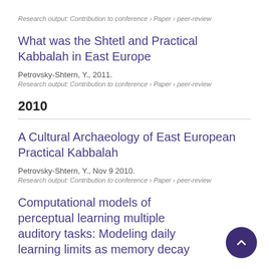Research output: Contribution to conference › Paper › peer-review
What was the Shtetl and Practical Kabbalah in East Europe
Petrovsky-Shtern, Y., 2011.
Research output: Contribution to conference › Paper › peer-review
2010
A Cultural Archaeology of East European Practical Kabbalah
Petrovsky-Shtern, Y., Nov 9 2010.
Research output: Contribution to conference › Paper › peer-review
Computational models of perceptual learning multiple auditory tasks: Modeling daily learning limits as memory decay